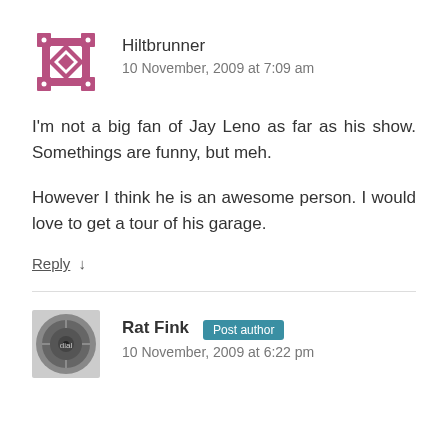[Figure (illustration): Pink/mauve decorative avatar icon with diamond shapes and dots pattern]
Hiltbrunner
10 November, 2009 at 7:09 am
I'm not a big fan of Jay Leno as far as his show. Somethings are funny, but meh.
However I think he is an awesome person. I would love to get a tour of his garage.
Reply ↓
[Figure (photo): Small circular photo avatar of Rat Fink, appears to be a round dial or disc image]
Rat Fink  Post author
10 November, 2009 at 6:22 pm